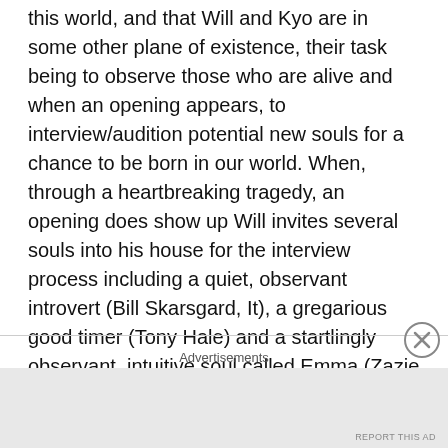this world, and that Will and Kyo are in some other plane of existence, their task being to observe those who are alive and when an opening appears, to interview/audition potential new souls for a chance to be born in our world. When, through a heartbreaking tragedy, an opening does show up Will invites several souls into his house for the interview process including a quiet, observant introvert (Bill Skarsgard, It), a gregarious good timer (Tony Hale) and a startlingly observant, intuitive soul called Emma (Zazie Beetz, Deadpool 2, Joker). Now, usually a premise like this in films would be played for satire or just... not taken completely seriously but somehow this very wild concept couldn't feel more down to earth in the hands of this creative team and. in hushed reverence. I
Advertisements